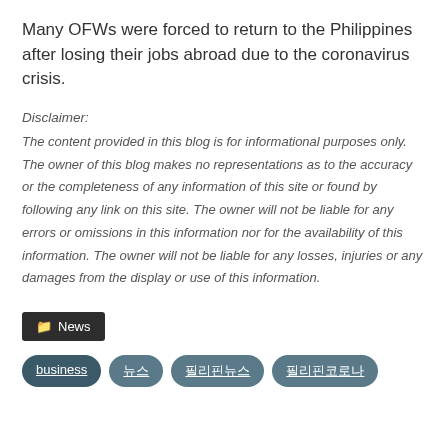Many OFWs were forced to return to the Philippines after losing their jobs abroad due to the coronavirus crisis.
Disclaimer:
The content provided in this blog is for informational purposes only. The owner of this blog makes no representations as to the accuracy or the completeness of any information of this site or found by following any link on this site. The owner will not be liable for any errors or omissions in this information nor for the availability of this information. The owner will not be liable for any losses, injuries or any damages from the display or use of this information.
📁 News
business  |  뉴스  |  필리핀뉴스  |  필리핀코로나